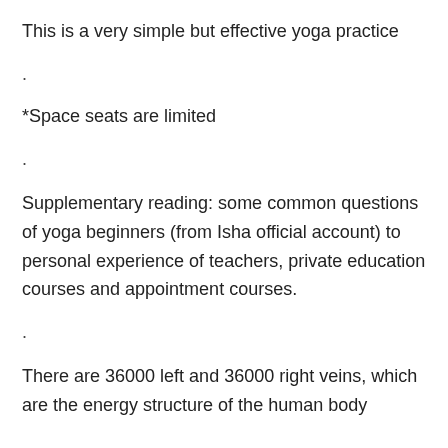This is a very simple but effective yoga practice
.
*Space seats are limited
.
Supplementary reading: some common questions of yoga beginners (from Isha official account) to personal experience of teachers, private education courses and appointment courses.
.
There are 36000 left and 36000 right veins, which are the energy structure of the human body